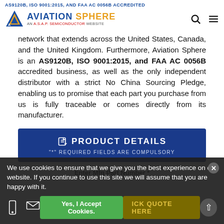AS9120B, ISO 9001:2015, AND FAA AC 0056B ACCREDITED
[Figure (logo): Aviation Sphere logo - blue triangle icon with 'AVIATION SPHERE' text in blue and orange, subtitle 'AN A.S.A.P. SEMICONDUCTOR WEBSITE']
network that extends across the United States, Canada, and the United Kingdom. Furthermore, Aviation Sphere is an AS9120B, ISO 9001:2015, and FAA AC 0056B accredited business, as well as the only independent distributor with a strict No China Sourcing Pledge, enabling us to promise that each part you purchase from us is fully traceable or comes directly from its manufacturer.
PRODUCT DETAILS
"*" REQUIRED FIELDS ARE COMPULSORY
Enter Mfg Part Number *
We use cookies to ensure that we give you the best experience on our website. If you continue to use this site we will assume that you are happy with it.